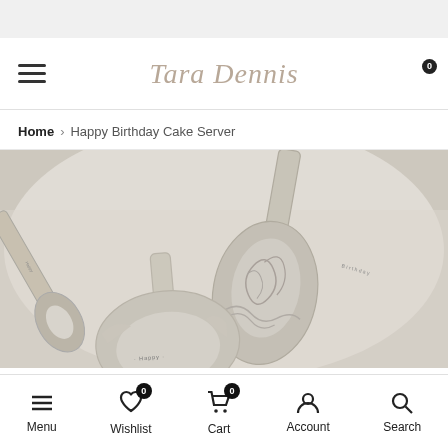[Figure (screenshot): Top gray bar of a mobile website]
Tara Dennis — navigation header with hamburger menu, logo, search and cart icons
Home > Happy Birthday Cake Server
[Figure (photo): Close-up photo of decorative silver cake servers with engraved 'Happy Birthday' text and ornate scrollwork patterns on white fabric background]
Menu | Wishlist 0 | Cart 0 | Account | Search